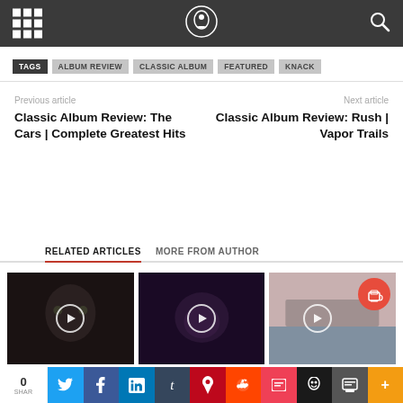Navigation header with grid icon, logo, and search icon
TAGS | ALBUM REVIEW | CLASSIC ALBUM | FEATURED | KNACK
Previous article
Classic Album Review: The Cars | Complete Greatest Hits
Next article
Classic Album Review: Rush | Vapor Trails
RELATED ARTICLES   MORE FROM AUTHOR
[Figure (photo): Dark close-up face thumbnail with play button overlay]
[Figure (photo): Dark purple toned photo thumbnail with play button overlay]
[Figure (photo): Light pinkish album cover thumbnail with coffee cup circle icon]
0 SHAR  social share buttons: Twitter, Facebook, LinkedIn, Tumblr, Pinterest, Reddit, Pocket, Skull, Email, Print, More